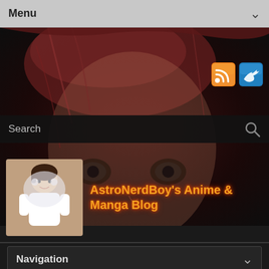Menu
[Figure (screenshot): Anime character face illustration in dark red/brown tones as website background]
[Figure (illustration): RSS feed orange icon]
[Figure (illustration): Twitter blue bird icon]
Search
[Figure (illustration): AstroNerdBoy anime thumbnail logo image]
AstroNerdBoy's Anime & Manga Blog
Navigation
UO HOLDER CHAPTER 131 MANGA